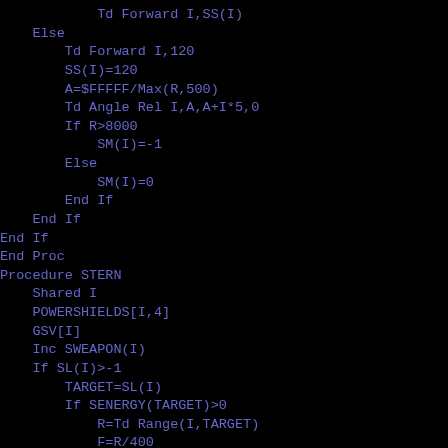Td Forward I,SS(I)
    Else
        Td Forward I,120
        SS(I)=120
        A=$FFFFF/Max(R,500)
        Td Angle Rel I,A,A+I*5,0
        If R>8000
            SM(I)=-1
        Else
            SM(I)=0
        End If
    End If
End If
End Proc
Procedure STERN
    Shared I
    POWERSHIELDS[I,4]
    GSV[I]
    Inc SWEAPON(I)
    If SL(I)>-1
        TARGET=SL(I)
        If SENERGY(TARGET)>0
            R=Td Range(I,TARGET)
            F=R/400
            FACE[I,TARGET,1000,R]
            If SR(I)<0
                If OART(SP(I))=0
                    If Param<300
                        WEAPONREL[SP(I),I,50,TARGET,40,-
                        WEAPONREL[SP(I)+1,I,50,TARGET,-4
                        WEAPONREL[SP(I)+2,I,50,TARGET,40